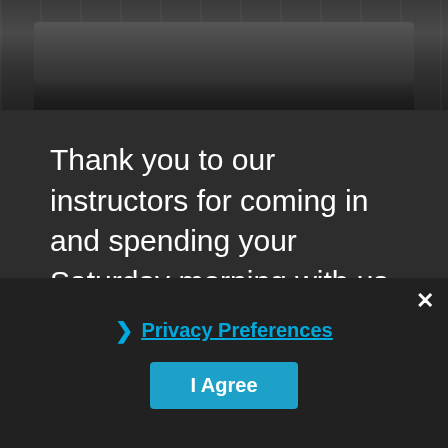[Figure (photo): Photo strip showing legs and feet of people wearing athletic shoes and workout clothes, sitting on a surface.]
Thank you to our instructors for coming in and spending your Saturday morning with us and thank you to all the visitors who stopped by! We hope you had as much fun as we did!
If you're interested in finding out about classes, our schedule is listed here under the Class Schedule tab and it is updated frequently. To find out about our events, follow us on Facebook and Instagram for exciting event announcements. You can also